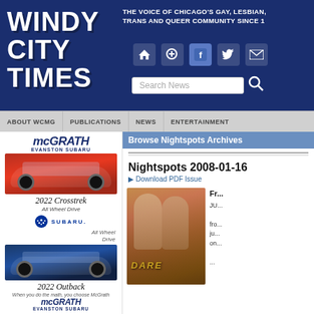Windy City Times — THE VOICE OF CHICAGO'S GAY, LESBIAN, TRANS AND QUEER COMMUNITY SINCE 1
ABOUT WCMG | PUBLICATIONS | NEWS | ENTERTAINMENT
[Figure (advertisement): McGrath Evanston Subaru advertisement featuring a red 2022 Crosstrek All Wheel Drive and a blue 2022 Outback All Wheel Drive]
Browse Nightspots Archives
Nightspots 2008-01-16
▶ Download PDF Issue
[Figure (photo): Cover image of Nightspots 2008-01-16 showing two shirtless men with the word DARE visible]
Fr...

JU...

fro...
ju...
on...

...